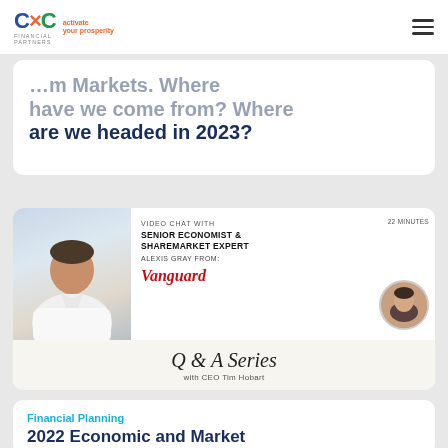CXC Financial Partners – activate your prosperity
…m Markets. Where have we come from? Where are we headed in 2023?
[Figure (photo): Video chat thumbnail showing a man in a white shirt on the left, with text: VIDEO CHAT WITH SENIOR ECONOMIST & SHAREMARKET EXPERT ALEXIS GRAY FROM: Vanguard. 22 MINUTES. A circular photo of a woman (Alexis Gray). Q & A Series with CEO Tim Hobart.]
Financial Planning
2022 Economic and Market